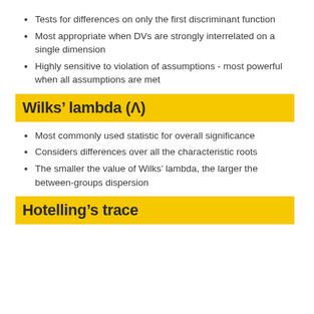Tests for differences on only the first discriminant function
Most appropriate when DVs are strongly interrelated on a single dimension
Highly sensitive to violation of assumptions - most powerful when all assumptions are met
Wilks’ lambda (Λ)
Most commonly used statistic for overall significance
Considers differences over all the characteristic roots
The smaller the value of Wilks’ lambda, the larger the between-groups dispersion
Hotelling’s trace